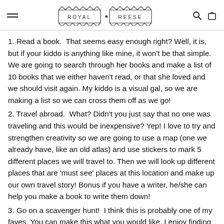ROYAL • REESE
1. Read a book.  That seems easy enough right? Well, it is, but if your kiddo is anything like mine, it won't be that simple. We are going to search through her books and make a list of 10 books that we either haven't read, or that she loved and we should visit again. My kiddo is a visual gal, so we are making a list so we can cross them off as we go!
2. Travel abroad.  What? Didn't you just say that no one was traveling and this would be inexpensive? Yep! I love to try and strengthen creativity so we are going to use a map (one we already have, like an old atlas) and use stickers to mark 5 different places we will travel to. Then we will look up different places that are 'must see' places at this location and make up our own travel story! Bonus if you have a writer, he/she can help you make a book to write them down!
3. Go on a scavenger hunt!  I think this is probably one of my faves. You can make this what you would like. I enjoy finding ideas on Pinterest to put my own together. My kiddo loves